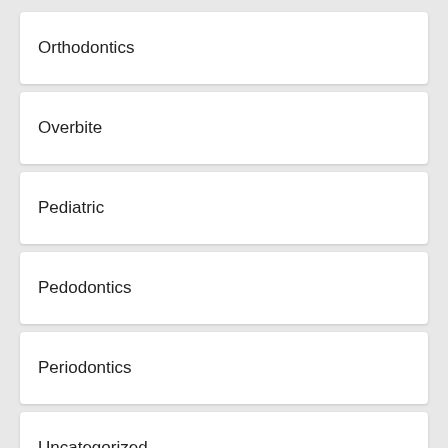Orthodontics
Overbite
Pediatric
Pedodontics
Periodontics
Uncategorized
Underbite